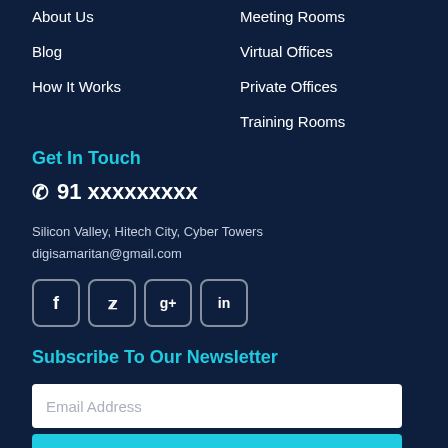About Us
Blog
How It Works
Meeting Rooms
Virtual Offices
Private Offices
Training Rooms
Get In Touch
91 xxxxxxxxx
Silicon Valley, Hitech City, Cyber Towers
digisamaritan@gmail.com
[Figure (infographic): Social media icons: Facebook, Twitter, Google+, LinkedIn]
Subscribe To Our Newsletter
Email Address
Subscribe